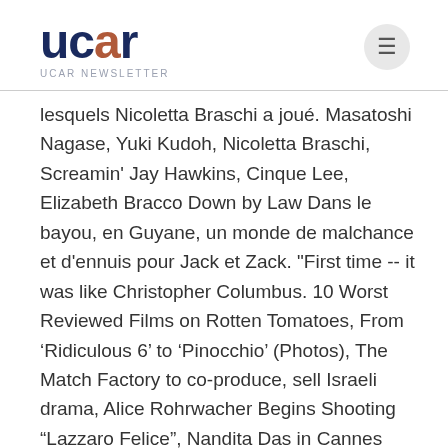ucar
lesquels Nicoletta Braschi a joué. Masatoshi Nagase, Yuki Kudoh, Nicoletta Braschi, Screamin' Jay Hawkins, Cinque Lee, Elizabeth Bracco Down by Law Dans le bayou, en Guyane, un monde de malchance et d'ennuis pour Jack et Zack. "First time -- it was like Christopher Columbus. 10 Worst Reviewed Films on Rotten Tomatoes, From ‘Ridiculous 6’ to ‘Pinocchio’ (Photos), The Match Factory to co-produce, sell Israeli drama, Alice Rohrwacher Begins Shooting “Lazzaro Felice”, Nandita Das in Cannes Short Film and Cinefondation jury, Nandita Das on Cinefondation Jury at Cannes 2013, Which Trio You Would Like to Join? One of the young workers who plow the fields of a tobacco farm, on the Lazio region estate where these rural laborers live, has just serenaded his true love; the young woman's sister tosses the guitar from the window, your